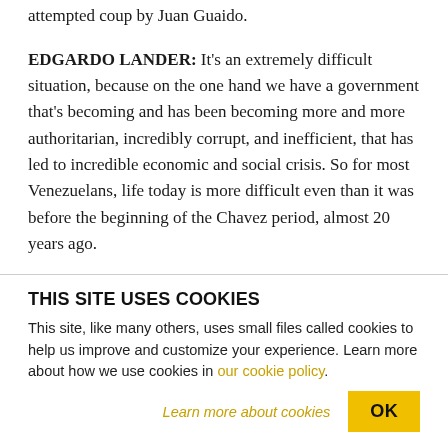attempted coup by Juan Guaido.
EDGARDO LANDER: It's an extremely difficult situation, because on the one hand we have a government that's becoming and has been becoming more and more authoritarian, incredibly corrupt, and inefficient, that has led to incredible economic and social crisis. So for most Venezuelans, life today is more difficult even than it was before the beginning of the Chavez period, almost 20 years ago.
THIS SITE USES COOKIES
This site, like many others, uses small files called cookies to help us improve and customize your experience. Learn more about how we use cookies in our cookie policy.
Learn more about cookies
OK